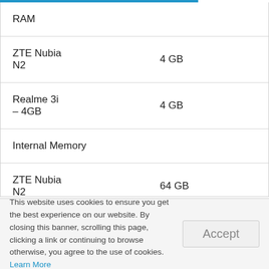|  |  |
| --- | --- |
| RAM |  |
| ZTE Nubia N2 | 4 GB |
| Realme 3i – 4GB | 4 GB |
| Internal Memory |  |
| ZTE Nubia N2 | 64 GB |
This website uses cookies to ensure you get the best experience on our website. By closing this banner, scrolling this page, clicking a link or continuing to browse otherwise, you agree to the use of cookies. Learn More